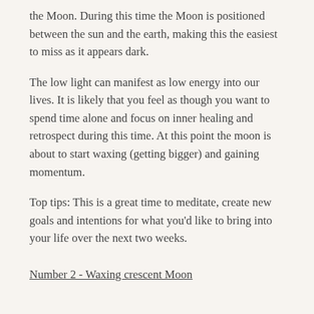the Moon. During this time the Moon is positioned between the sun and the earth, making this the easiest to miss as it appears dark.
The low light can manifest as low energy into our lives. It is likely that you feel as though you want to spend time alone and focus on inner healing and retrospect during this time. At this point the moon is about to start waxing (getting bigger) and gaining momentum.
Top tips: This is a great time to meditate, create new goals and intentions for what you'd like to bring into your life over the next two weeks.
Number 2 - Waxing crescent Moon